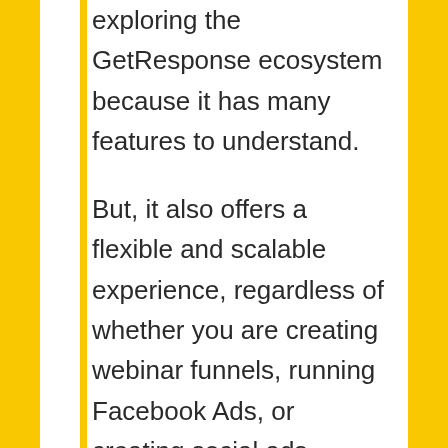exploring the GetResponse ecosystem because it has many features to understand.

But, it also offers a flexible and scalable experience, regardless of whether you are creating webinar funnels, running Facebook Ads, or creating social ads elsewhere.

On the other hand, you can access everything, from eCommerce tools to